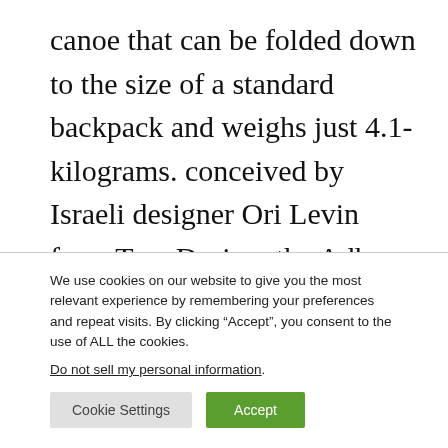canoe that can be folded down to the size of a standard backpack and weighs just 4.1-kilograms. conceived by Israeli designer Ori Levin from Tsor Design, the Adhoc may seems like nothing much but when you hit a river deep in the wilderness, it could be your dream boat. the boat is concocted from
We use cookies on our website to give you the most relevant experience by remembering your preferences and repeat visits. By clicking “Accept”, you consent to the use of ALL the cookies.
Do not sell my personal information.
Cookie Settings
Accept